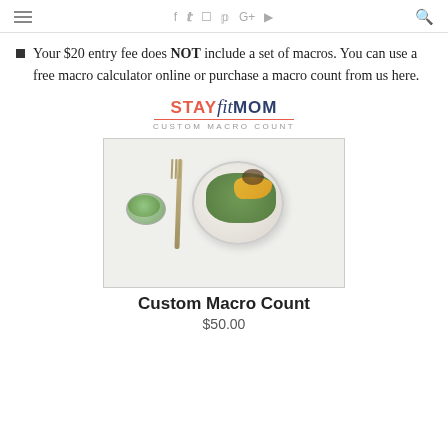Navigation bar with hamburger menu, social icons (f, twitter, instagram, pinterest, G+, youtube) and search icon
Your $20 entry fee does NOT include a set of macros. You can use a free macro calculator online or purchase a macro count from us here.
[Figure (logo): StayFitMom Custom Macro Count logo — STAY in red, fit in dark blue italic, MOM in dark blue, with red underline and CUSTOM MACRO COUNT subtitle]
[Figure (photo): Overhead photo of a healthy salad bowl with mango slices, greens, seeds, a fork, and a small bowl of green powder on a white wooden surface]
Custom Macro Count
$50.00